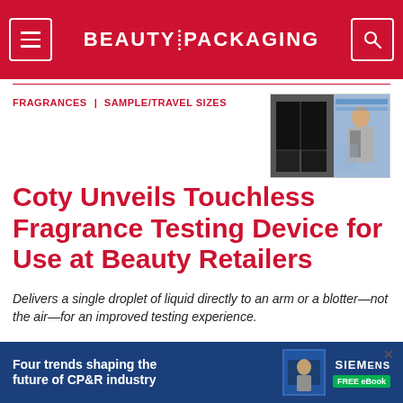BEAUTY PACKAGING
FRAGRANCES | SAMPLE/TRAVEL SIZES
[Figure (photo): Thumbnail image showing a black box fragrance testing device and a woman in a retail setting]
Coty Unveils Touchless Fragrance Testing Device for Use at Beauty Retailers
Delivers a single droplet of liquid directly to an arm or a blotter—not the air—for an improved testing experience.
07.12.21
[Figure (infographic): Advertisement banner: Four trends shaping the future of CP&R industry — Siemens FREE eBook]